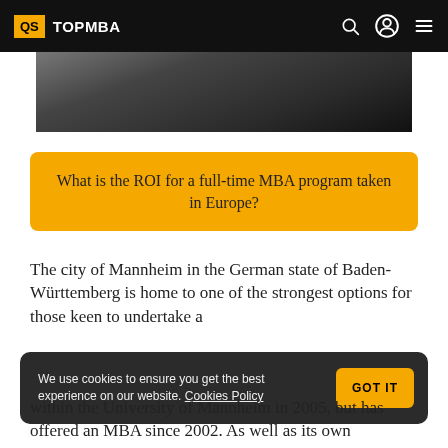QS TOPMBA
[Figure (photo): Partial hero image showing a dark outdoor plaza or courtyard scene]
What is the ROI for a full-time MBA program taken in Europe?
The city of Mannheim in the German state of Baden-Württemberg is home to one of the strongest options for those keen to undertake a
We use cookies to ensure you get the best experience on our website. Cookies Policy
within the University of Mannheim in 2005, but has offered an MBA since 2002. As well as its own MBA program, the school also...